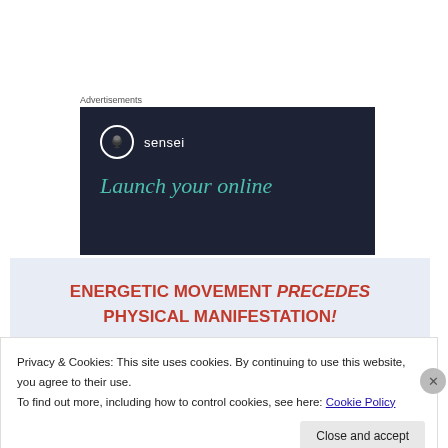Advertisements
[Figure (logo): Sensei brand advertisement banner with dark navy background, circular tree logo, brand name 'sensei', and tagline 'Launch your online' in teal italic serif font]
ENERGETIC MOVEMENT PRECEDES PHYSICAL MANIFESTATION!
Privacy & Cookies: This site uses cookies. By continuing to use this website, you agree to their use.
To find out more, including how to control cookies, see here: Cookie Policy